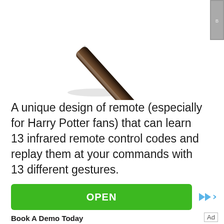[Figure (photo): Close-up photo of a wand-shaped infrared remote control, dark brown metallic finish with silver tip, angled diagonally, partially cropped at top]
A unique design of remote (especially for Harry Potter fans) that can learn 13 infrared remote control codes and replay them at your commands with 13 different gestures.
[Figure (screenshot): Green OPEN button advertisement with ad control icons (forward and close)]
Book A Demo Today
Ad